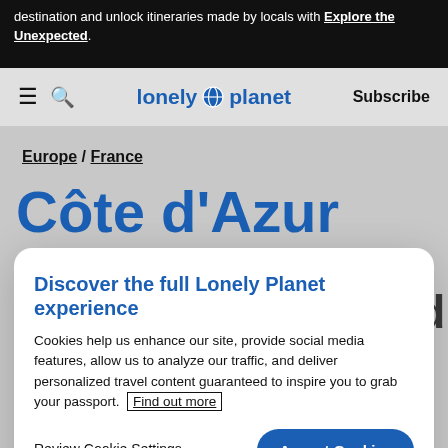destination and unlock itineraries made by locals with Explore the Unexpected.
[Figure (logo): Lonely Planet navigation bar with hamburger menu, search icon, Lonely Planet logo with globe, and Subscribe link]
Europe / France
Côte d'Azur
Discover the full Lonely Planet experience
Cookies help us enhance our site, provide social media features, allow us to analyze our traffic, and deliver personalized travel content guaranteed to inspire you to grab your passport. Find out more
Review Cookie Settings
Accept Cookies
the name stuck and the rest is history